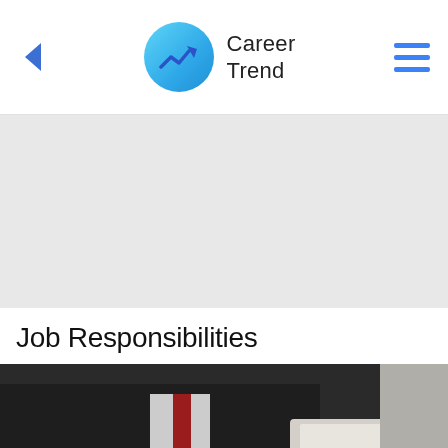Career Trend
[Figure (other): Advertisement placeholder gray area]
Job Responsibilities
[Figure (photo): Person in dark suit and red tie holding a book, photographed from above at a desk]